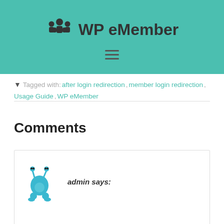WP eMember
Tagged with: after login redirection, member login redirection, Usage Guide, WP eMember
Comments
admin says: